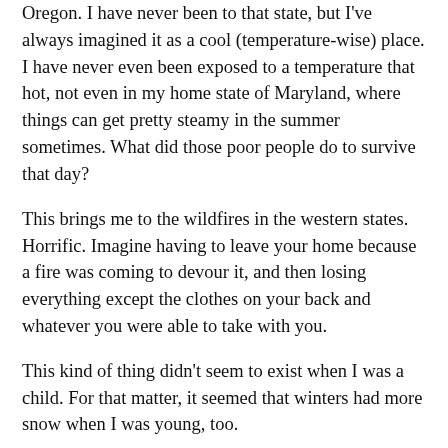Oregon. I have never been to that state, but I've always imagined it as a cool (temperature-wise) place. I have never even been exposed to a temperature that hot, not even in my home state of Maryland, where things can get pretty steamy in the summer sometimes. What did those poor people do to survive that day?
This brings me to the wildfires in the western states. Horrific. Imagine having to leave your home because a fire was coming to devour it, and then losing everything except the clothes on your back and whatever you were able to take with you.
This kind of thing didn't seem to exist when I was a child. For that matter, it seemed that winters had more snow when I was young, too.
I believe that climate change is mostly manmade. It would very gradually happen even if there were no humans on earth, but we are speeding it up big time. That isn't a good thing for today's children. (I myself have